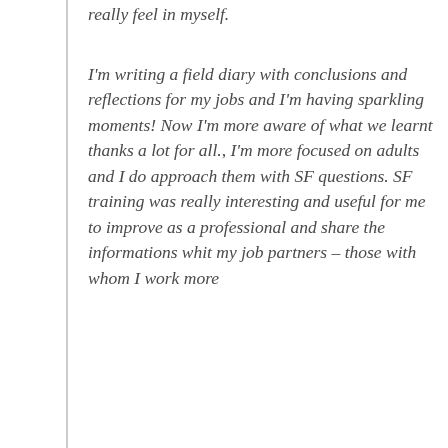really feel in myself.
I'm writing a field diary with conclusions and reflections for my jobs and I'm having sparkling moments! Now I'm more aware of what we learnt thanks a lot for all., I'm more focused on adults and I do approach them with SF questions. SF training was really interesting and useful for me to improve as a professional and share the informations whit my job partners – those with whom I work more